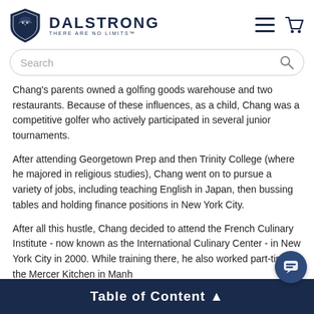[Figure (logo): Dalstrong logo with lion shield icon and text DALSTRONG THERE ARE NO LIMITS]
[Figure (screenshot): Search bar with magnifying glass icon]
Chang's parents owned a golfing goods warehouse and two restaurants. Because of these influences, as a child, Chang was a competitive golfer who actively participated in several junior tournaments.
After attending Georgetown Prep and then Trinity College (where he majored in religious studies), Chang went on to pursue a variety of jobs, including teaching English in Japan, then bussing tables and holding finance positions in New York City.
After all this hustle, Chang decided to attend the French Culinary Institute - now known as the International Culinary Center - in New York City in 2000. While training there, he also worked part-time at the Mercer Kitchen in Manh...
Table of Content ▲